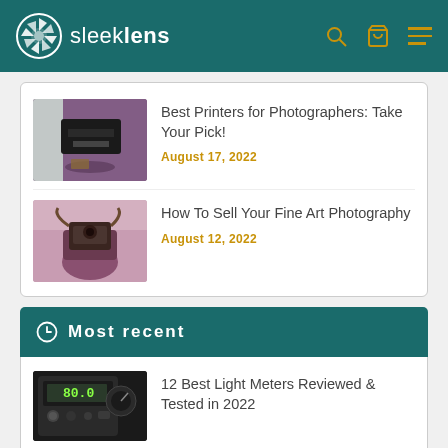sleeklens
Best Printers for Photographers: Take Your Pick!
August 17, 2022
How To Sell Your Fine Art Photography
August 12, 2022
Most recent
12 Best Light Meters Reviewed & Tested in 2022